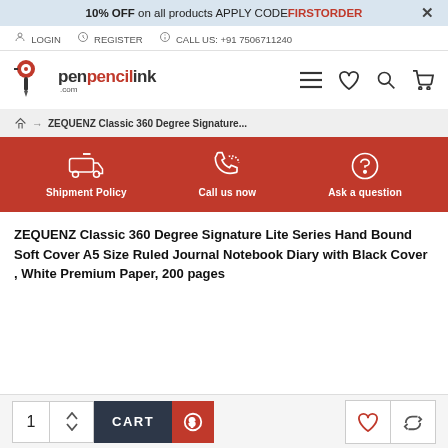10% OFF on all products APPLY CODE FIRSTORDER ×
LOGIN  REGISTER  CALL US: +91 7506711240
[Figure (logo): penpencilink.com logo with red pen/pencil icon]
→ ZEQUENZ Classic 360 Degree Signature...
[Figure (infographic): Red service bar with three icons: Shipment Policy, Call us now, Ask a question]
ZEQUENZ Classic 360 Degree Signature Lite Series Hand Bound Soft Cover A5 Size Ruled Journal Notebook Diary with Black Cover , White Premium Paper, 200 pages
1  CART  [dollar icon]  [heart icon]  [return icon]